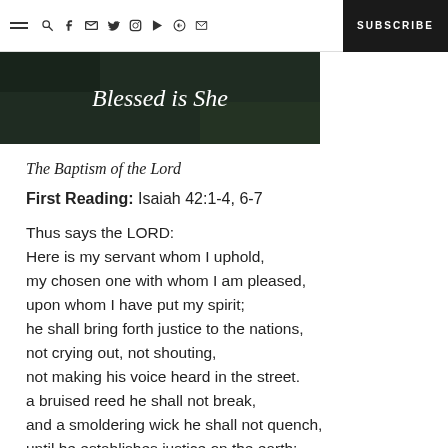Navigation bar with hamburger menu, search, social icons (Facebook, Twitter, Pinterest, Instagram, YouTube, Spotify, Email), and SUBSCRIBE button
[Figure (photo): Dark green/forest background image with cursive white text reading 'Blessed is She']
The Baptism of the Lord
First Reading: Isaiah 42:1-4, 6-7
Thus says the LORD:
Here is my servant whom I uphold,
my chosen one with whom I am pleased,
upon whom I have put my spirit;
he shall bring forth justice to the nations,
not crying out, not shouting,
not making his voice heard in the street.
a bruised reed he shall not break,
and a smoldering wick he shall not quench,
until he establishes justice on the earth;